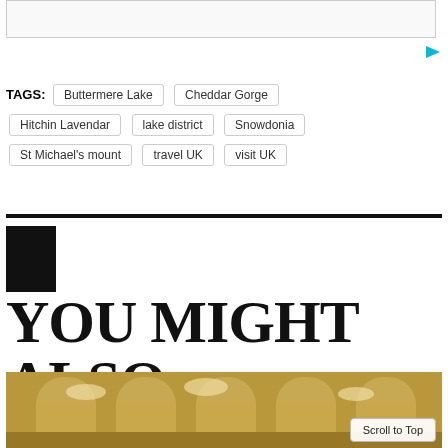[Figure (other): Advertisement banner box (empty)]
TAGS: Buttermere Lake  Cheddar Gorge  Hitchin Lavendar  lake district  Snowdonia  St Michael's mount  travel UK  visit UK
YOU MIGHT ALSO LIKE
[Figure (photo): Interior of an ornate grand hall with arched windows, chandeliers, and gilded decor]
Scroll to Top